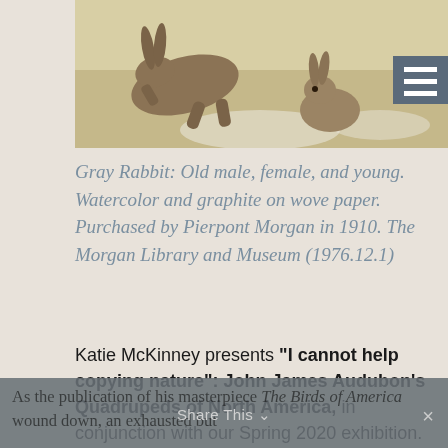[Figure (photo): Watercolor illustration of rabbits — old male, female, and young gray rabbits on a light background. A menu/hamburger icon is overlaid in the top-right corner.]
Gray Rabbit: Old male, female, and young. Watercolor and graphite on wove paper. Purchased by Pierpont Morgan in 1910. The Morgan Library and Museum (1976.12.1)
Katie McKinney presents "I cannot help copying nature": John James Audubon's Quadrupeds of North America, in conjunction with our Spring 2020 exhibition.
As the publication of his masterpiece The Birds of America wound down, an exhausted but
Share This ∨  ×